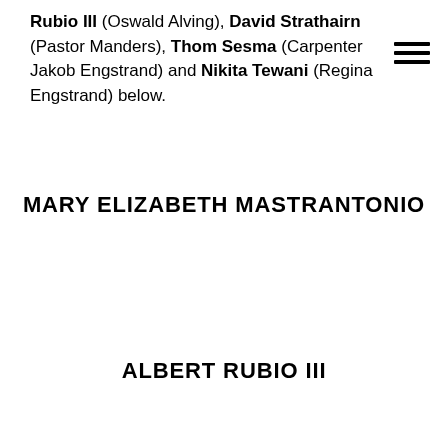Rubio III (Oswald Alving), David Strathairn (Pastor Manders), Thom Sesma (Carpenter Jakob Engstrand) and Nikita Tewani (Regina Engstrand) below.
MARY ELIZABETH MASTRANTONIO
ALBERT RUBIO III